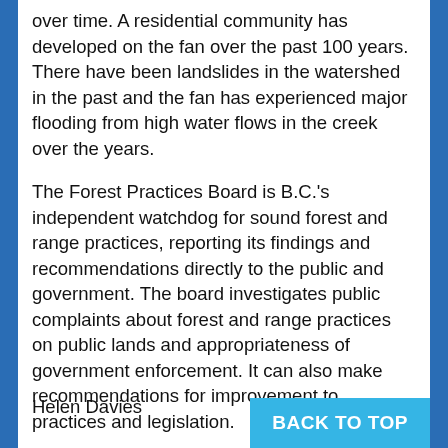over time. A residential community has developed on the fan over the past 100 years. There have been landslides in the watershed in the past and the fan has experienced major flooding from high water flows in the creek over the years.
The Forest Practices Board is B.C.'s independent watchdog for sound forest and range practices, reporting its findings and recommendations directly to the public and government. The board investigates public complaints about forest and range practices on public lands and appropriateness of government enforcement. It can also make recommendations for improvement to practices and legislation.
Helen Davies